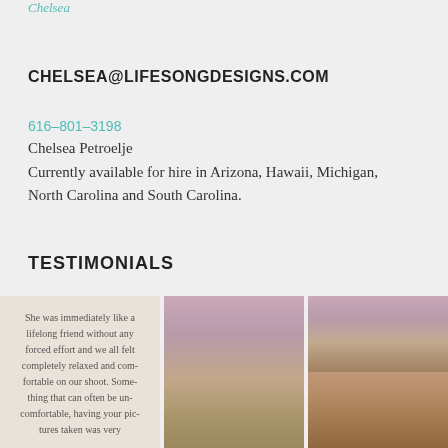Chelsea
CHELSEA@LIFESONGDESIGNS.COM
616-801-3198
Chelsea Petroelje
Currently available for hire in Arizona, Hawaii, Michigan, North Carolina and South Carolina.
TESTIMONIALS
[Figure (photo): Three testimonial images in a row: first shows cursive handwritten text quote on a light background reading 'She was immediately like a lifelong friend without any forced effort and we all felt completely relaxed and comfortable on our shoot. Something that can often be uncomfortable, having your pictures taken was very...'; second and third show ocean/seascape landscape photographs with sky and rocks.]